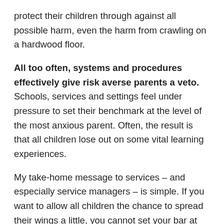protect their children through against all possible harm, even the harm from crawling on a hardwood floor.
All too often, systems and procedures effectively give risk averse parents a veto. Schools, services and settings feel under pressure to set their benchmark at the level of the most anxious parent. Often, the result is that all children lose out on some vital learning experiences.
My take-home message to services – and especially service managers – is simple. If you want to allow all children the chance to spread their wings a little, you cannot set your bar at the level of the most anxious parent. In the nicest possible way, you need to be assertive with the ones at the fearful end of the spectrum. They should not be allowed to think that they have a veto on what you offer to children.